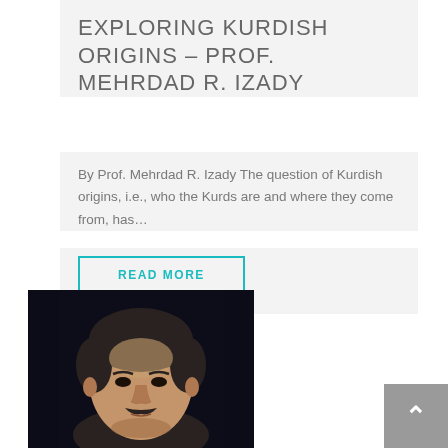EXPLORING KURDISH ORIGINS – PROF. MEHRDAD R. IZADY
By Prof. Mehrdad R. Izady The question of Kurdish origins, i.e., who the Kurds are and where they come from, has…
READ MORE
[Figure (photo): Portrait photo of a man with dark hair and mustache against a dark background]